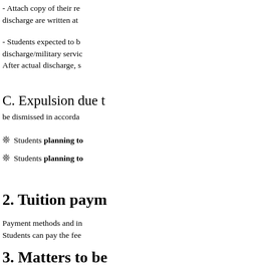- Attach copy of their re... discharge are written at...
- Students expected to b... discharge/military servic... After actual discharge, s...
C. Expulsion due t... be dismissed in accorda...
❊ Students planning to...
❊ Students planning to...
2. Tuition paym...
Payment methods and i... Students can pay the fee...
3. Matters to be...